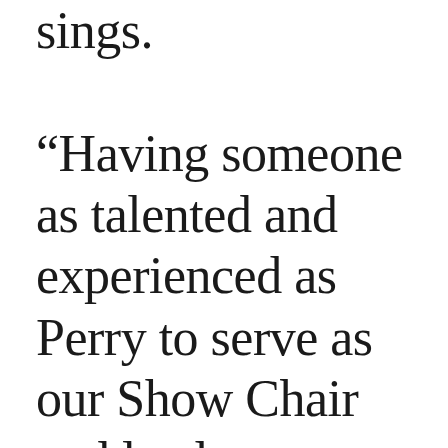sings. “Having someone as talented and experienced as Perry to serve as our Show Chair and lead our curatorial process is a